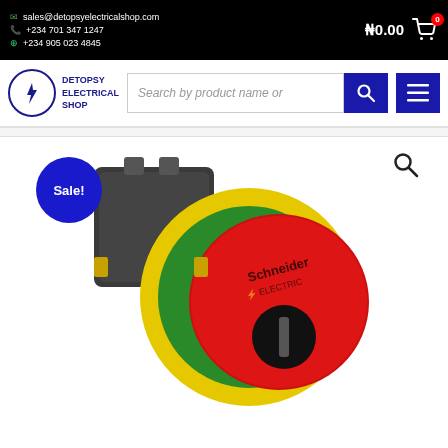sales@detopsyelectricalshop.com | +234 701 347 1247 | +234 905 023 4845 | ₦0.00
[Figure (logo): Detopsy Electrical Shop logo with lightning bolt in circle]
Search by product name or
[Figure (photo): Schneider Electric emergency stop push button with red mushroom head, yellow-green ring, key release, mounted on black body]